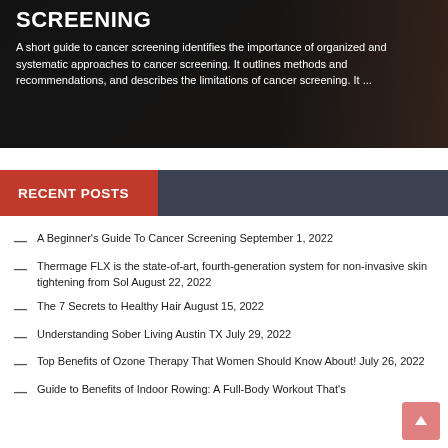[Figure (photo): Dark background image of a medical/cancer screening scene with a person, overlaid with text about cancer screening.]
SCREENING
A short guide to cancer screening identifies the importance of organized and systematic approaches to cancer screening. It outlines methods and recommendations, and describes the limitations of cancer screening. It ...
RECENT POSTS
A Beginner's Guide To Cancer Screening September 1, 2022
Thermage FLX is the state-of-art, fourth-generation system for non-invasive skin tightening from Sol August 22, 2022
The 7 Secrets to Healthy Hair August 15, 2022
Understanding Sober Living Austin TX July 29, 2022
Top Benefits of Ozone Therapy That Women Should Know About! July 26, 2022
Guide to Benefits of Indoor Rowing: A Full-Body Workout That's